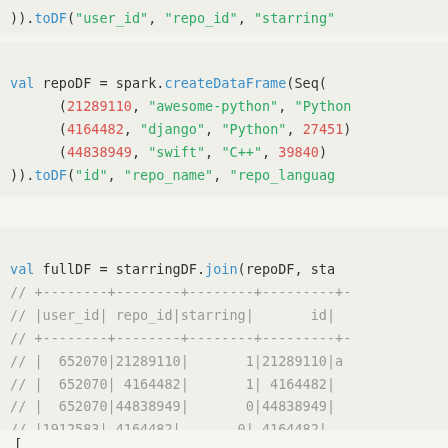)).toDF("user_id", "repo_id", "starring"
val repoDF = spark.createDataFrame(Seq(
  (21289110, "awesome-python", "Python
  (4164482, "django", "Python", 27451)
  (44838949, "swift", "C++", 39840)
)).toDF("id", "repo_name", "repo_languag
val fullDF = starringDF.join(repoDF, sta
// +--------+--------+--------+---------+-
// |user_id| repo_id|starring|       id|
// +--------+--------+--------+---------+-
// |  652070|21289110|       1|21289110|a
// |  652070| 4164482|       1| 4164482|
// |  652070|44838949|       0|44838949|
// |1912583| 4164482|       0| 4164482|
// +--------+--------+--------+---------+-
[